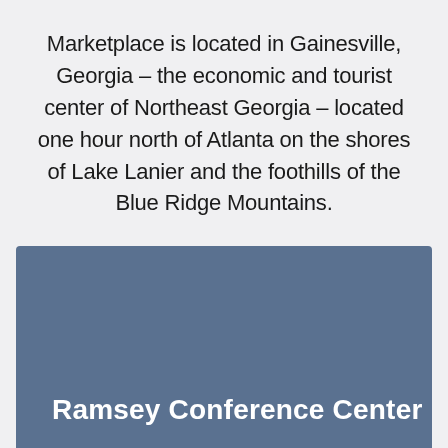Marketplace is located in Gainesville, Georgia – the economic and tourist center of Northeast Georgia – located one hour north of Atlanta on the shores of Lake Lanier and the foothills of the Blue Ridge Mountains.
[Figure (photo): A muted blue-grey photo or color block representing the Ramsey Conference Center, with white bold text overlay reading 'Ramsey Conference Center' at the bottom left.]